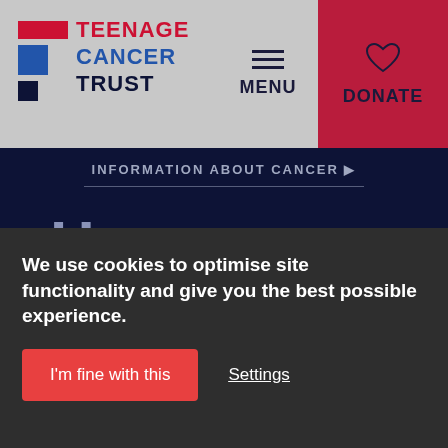[Figure (logo): Teenage Cancer Trust logo with red and blue rectangles and bold text]
MENU
DONATE
INFORMATION ABOUT CANCER ▶
How cancer treatment can affect
We use cookies to optimise site functionality and give you the best possible experience.
I'm fine with this
Settings